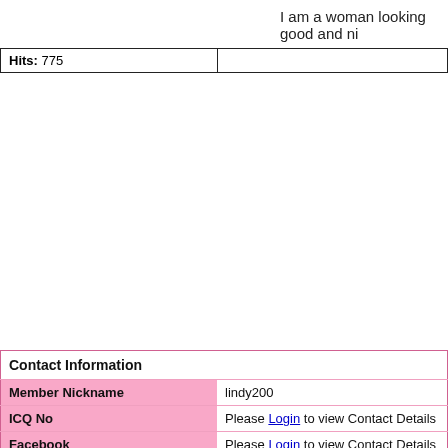I am a woman looking good and ni
| Hits: 775 |  |
| --- | --- |
| Contact Information |  |
| --- | --- |
| Member Nickname | lindy200 |
| ICQ No | Please Login to view Contact Details |
| Facebook | Please Login to view Contact Details |
| Instagram | Please Login to view Contact Details |
| Homepage URL | Please Login to view Contact Details |
| Category | Female looking for male |
| Purpose | Marriage |
| Location | new york, Wilayah Persekutuan |
| Country | United States of America |
| Personal Info |  |
| Birthdate | 10-2-1989  (DD/MM/YYYY) |
| Zodiac Sign | Snake |
| Astrological Sign | Aquarius |